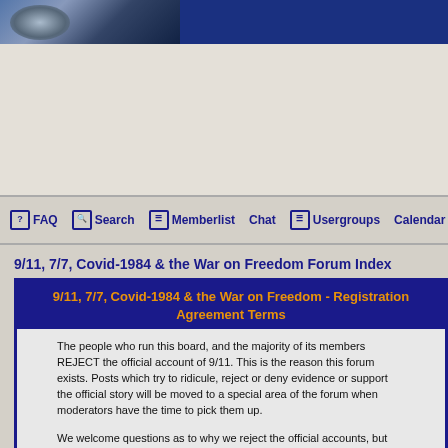[Figure (illustration): Forum website header banner with dark blue gradient and image of figures on left side]
FAQ  Search  Memberlist  Chat  Usergroups  Calendar  Regis
9/11, 7/7, Covid-1984 & the War on Freedom Forum Index
9/11, 7/7, Covid-1984 & the War on Freedom - Registration Agreement Terms
The people who run this board, and the majority of its members REJECT the official account of 9/11. This is the reason this forum exists. Posts which try to ridicule, reject or deny evidence or support the official story will be moved to a special area of the forum when moderators have the time to pick them up.
We welcome questions as to why we reject the official accounts, but would politely ask that these be asked AFTER as much as possible of the evidence linked on the home page has been carefully reviewed and analysed by people who want to ask these questions. i.e. we are all volunteers with a limited budget of time and so it is easier for curious people to review the available evidence in order to answer questions they may have BEFORE posting them on the forum.
If you are supporting the official account of 9/11, which we reject, your posts will be moved to a special area of the forum called "Critics' Corner" and those who are interested can debate with you there.